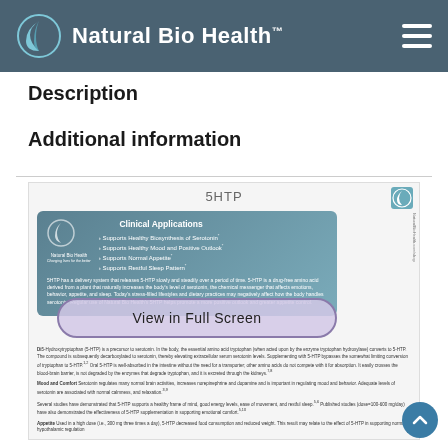Natural Bio Health™
Description
Additional information
[Figure (screenshot): Screenshot of a Natural Bio Health product page showing a 5HTP supplement document preview. The inner document shows Clinical Applications card with teal gradient background listing: Supports Healthy Biosynthesis of Serotonin, Supports Healthy Mood and Positive Outlook, Supports Normal Appetite, Supports Restful Sleep Pattern. A 'View in Full Screen' button overlays the document. Below is descriptive text about 5-hydroxytryptophan as a precursor to serotonin, with sections on Mood and Comfort, and Appetite.]